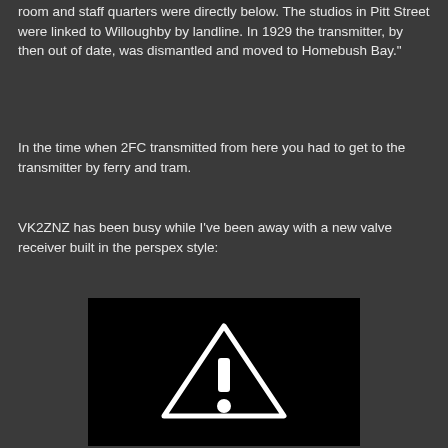room and staff quarters were directly below. The studios in Pitt Street were linked to Willoughby by landline. In 1929 the transmitter, by then out of date, was dismantled and moved to Homebush Bay."
In the time when 2FC transmitted from here you had to get to the transmitter by ferry and tram.
VK2ZNZ has been busy while I've been away with a new valve receiver built in the perspex style:
[Figure (photo): Black image with a white warning triangle containing an exclamation mark, indicating a missing or broken image placeholder.]